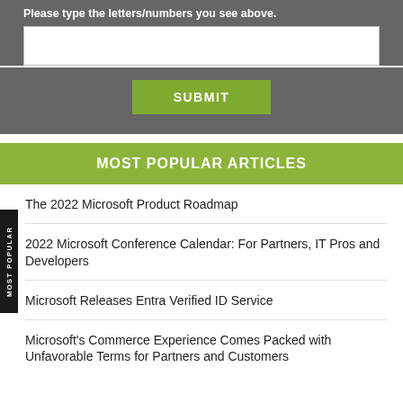Please type the letters/numbers you see above.
MOST POPULAR ARTICLES
The 2022 Microsoft Product Roadmap
2022 Microsoft Conference Calendar: For Partners, IT Pros and Developers
Microsoft Releases Entra Verified ID Service
Microsoft's Commerce Experience Comes Packed with Unfavorable Terms for Partners and Customers